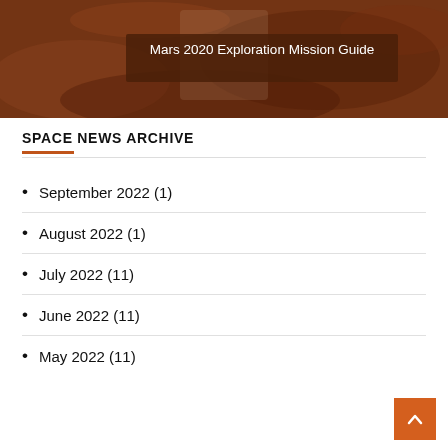[Figure (photo): Mars surface banner image with rover, overlaid with dark brown semi-transparent box containing the title 'Mars 2020 Exploration Mission Guide' in white text]
SPACE NEWS ARCHIVE
September 2022 (1)
August 2022 (1)
July 2022 (11)
June 2022 (11)
May 2022 (11)